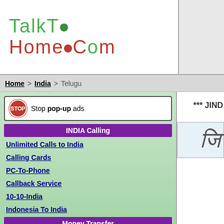[Figure (logo): TalkToHome.Com logo with green and red stylized text]
Home > India > Telugu
[Figure (illustration): Stop pop-up ads banner with red stop sign]
INDIA Calling
Unlimited Calls to India
Calling Cards
PC-To-Phone
Callback Service
10-10-India
Indonesia To India
Money Transfer
Free Transfer
Western Union
INDIA Specials
Live Cricket
Mobile Ringtones
Matrimonial Sites
Buy/Rent DVD
Online Shopping
Send Gifts to Beloved ones in India
*** JIND
[Figure (other): Handwritten Telugu/Devanagari character on light blue background]